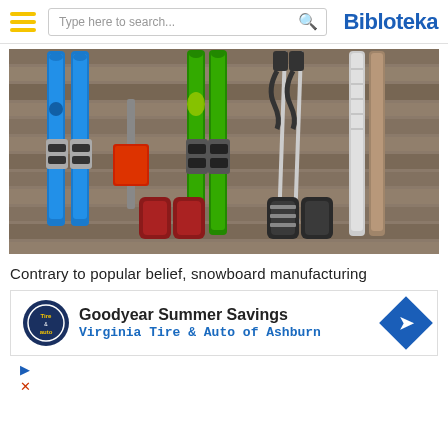Bibloteka
[Figure (photo): Ski equipment laid out on a wooden background — two pairs of blue skis on the left, a red snow shovel in the center-left, green skis with bindings in the center, ski poles and straps on the right, ski boots at the bottom, and additional patterned skis on the far right.]
Contrary to popular belief, snowboard manufacturing
[Figure (other): Advertisement banner: Goodyear Summer Savings — Virginia Tire & Auto of Ashburn, with Goodyear logo and directional arrow icon.]